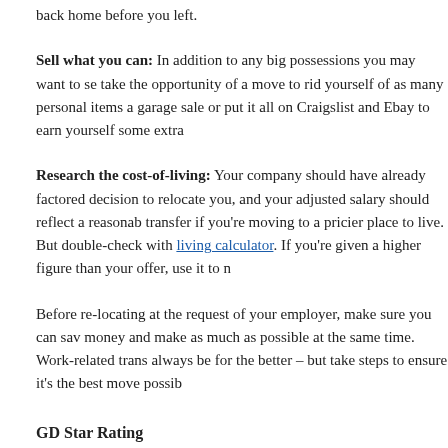back home before you left.
Sell what you can: In addition to any big possessions you may want to se take the opportunity of a move to rid yourself of as many personal items a garage sale or put it all on Craigslist and Ebay to earn yourself some extra
Research the cost-of-living: Your company should have already factored decision to relocate you, and your adjusted salary should reflect a reasonab transfer if you're moving to a pricier place to live. But double-check with living calculator. If you're given a higher figure than your offer, use it to n
Before re-locating at the request of your employer, make sure you can sav money and make as much as possible at the same time. Work-related trans always be for the better – but take steps to ensure it's the best move possib
GD Star Rating
a WordPress rating system